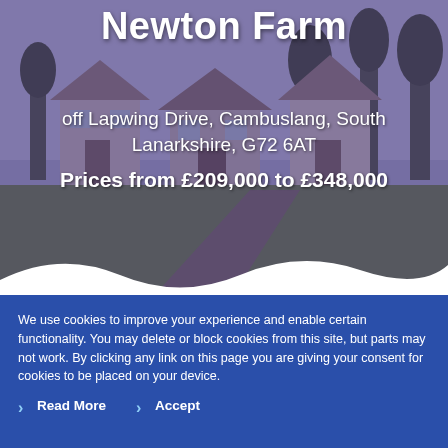[Figure (photo): Hero image of Newton Farm residential development showing houses with purple/blue overlay tint. Development name 'Newton Farm' displayed as large white bold title at top. Address and price text overlaid on the image.]
Newton Farm
off Lapwing Drive, Cambuslang, South Lanarkshire, G72 6AT
Prices from £209,000 to £348,000
We use cookies to improve your experience and enable certain functionality. You may delete or block cookies from this site, but parts may not work. By clicking any link on this page you are giving your consent for cookies to be placed on your device.
Read More
Accept